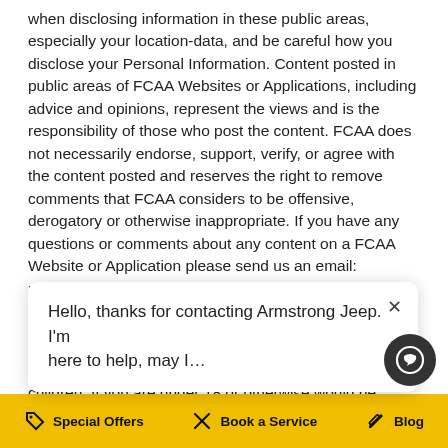when disclosing information in these public areas, especially your location-data, and be careful how you disclose your Personal Information. Content posted in public areas of FCAA Websites or Applications, including advice and opinions, represent the views and is the responsibility of those who post the content. FCAA does not necessarily endorse, support, verify, or agree with the content posted and reserves the right to remove comments that FCAA considers to be offensive, derogatory or otherwise inappropriate. If you have any questions or comments about any content on a FCAA Website or Application please send us an email: marketingau@fcagroup.com
CHILDREN
FCAG Websites and Applications are not directed at children. If you are under 18 or otherwise would be required to have parent or guardian consent to share information with FCAA, you should not send any information about yourself to FCAA. If a person under 18 s... A... i... a
Hello, thanks for contacting Armstrong Jeep. I'm here to help, may I...
Special Offers   Book a Service   Blog